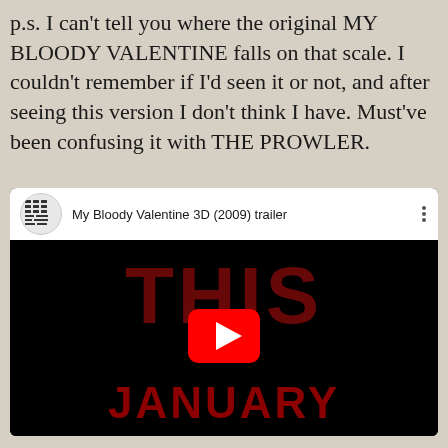p.s. I can't tell you where the original MY BLOODY VALENTINE falls on that scale. I couldn't remember if I'd seen it or not, and after seeing this version I don't think I have. Must've been confusing it with THE PROWLER.
[Figure (screenshot): YouTube video embed thumbnail for 'My Bloody Valentine 3D (2009) trailer' showing a dark horror movie poster with 'THIS JANUARY' text in dark red, with YouTube play button overlay]